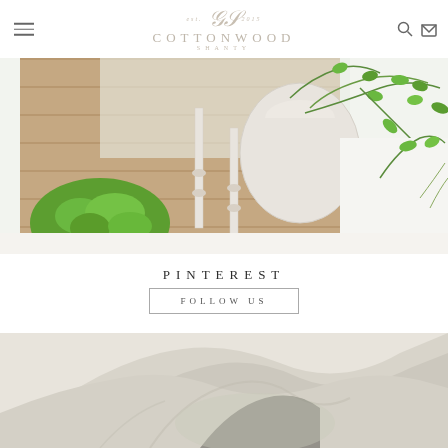Cottonwood Shanty — Est. 2015
[Figure (photo): A styled scene showing green moss balls, ivy plants in a white ceramic urn, wooden planks background, and white candlestick holders with decorative flower details.]
PINTEREST
FOLLOW US
[Figure (photo): Close-up of neutral-toned linen fabric folded loosely, with soft natural light.]